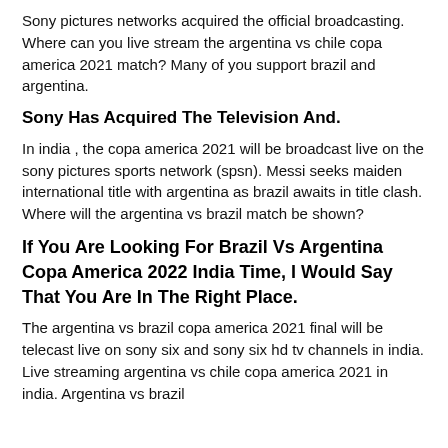Sony pictures networks acquired the official broadcasting. Where can you live stream the argentina vs chile copa america 2021 match? Many of you support brazil and argentina.
Sony Has Acquired The Television And.
In india , the copa america 2021 will be broadcast live on the sony pictures sports network (spsn). Messi seeks maiden international title with argentina as brazil awaits in title clash. Where will the argentina vs brazil match be shown?
If You Are Looking For Brazil Vs Argentina Copa America 2022 India Time, I Would Say That You Are In The Right Place.
The argentina vs brazil copa america 2021 final will be telecast live on sony six and sony six hd tv channels in india. Live streaming argentina vs chile copa america 2021 in india. Argentina vs brazil